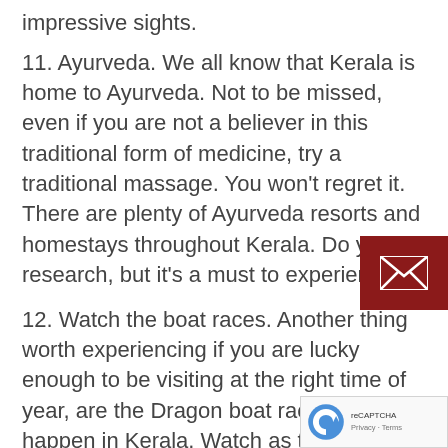impressive sights.
11. Ayurveda. We all know that Kerala is home to Ayurveda. Not to be missed, even if you are not a believer in this traditional form of medicine, try a traditional massage. You won't regret it. There are plenty of Ayurveda resorts and homestays throughout Kerala. Do your research, but it's a must to experience.
12. Watch the boat races. Another thing worth experiencing if you are lucky enough to be visiting at the right time of year, are the Dragon boat races that happen in Kerala. Watch as teams row these, ( no